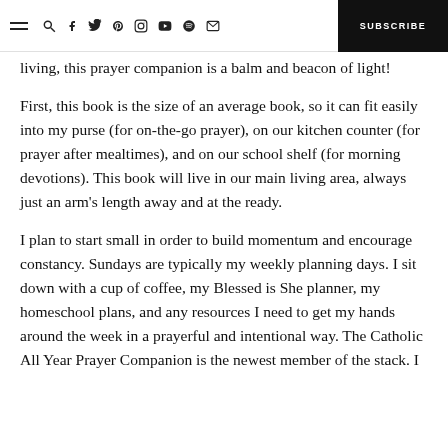≡ search facebook twitter pinterest instagram youtube spotify mail | SUBSCRIBE
living, this prayer companion is a balm and beacon of light!
First, this book is the size of an average book, so it can fit easily into my purse (for on-the-go prayer), on our kitchen counter (for prayer after mealtimes), and on our school shelf (for morning devotions). This book will live in our main living area, always just an arm's length away and at the ready.
I plan to start small in order to build momentum and encourage constancy. Sundays are typically my weekly planning days. I sit down with a cup of coffee, my Blessed is She planner, my homeschool plans, and any resources I need to get my hands around the week in a prayerful and intentional way. The Catholic All Year Prayer Companion is the newest member of the stack. I